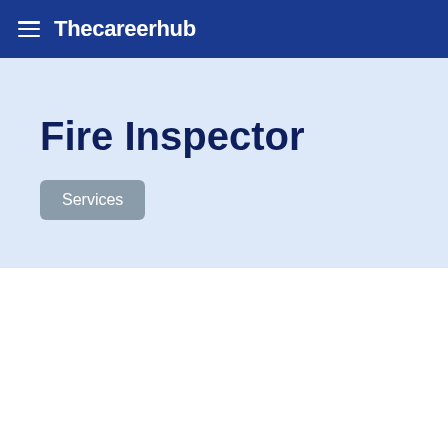Thecareerhub
Fire Inspector
Services